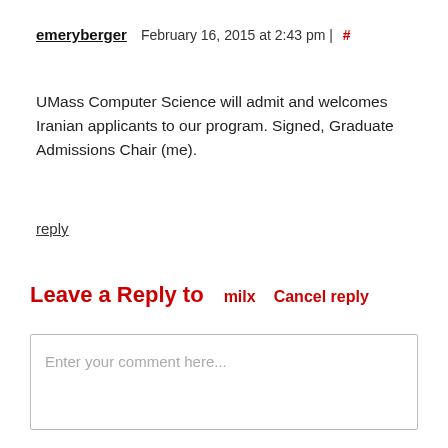emeryberger   February 16, 2015 at 2:43 pm | #
UMass Computer Science will admit and welcomes Iranian applicants to our program. Signed, Graduate Admissions Chair (me).
reply
Leave a Reply to  milx  Cancel reply
Enter your comment here...